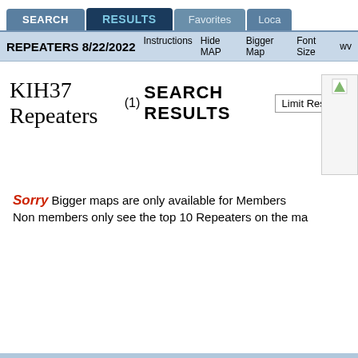SEARCH | RESULTS | Favorites | Loca
REPEATERS 8/22/2022  Instructions  Hide MAP  Bigger Map  Font Size  ww
KIH37 Repeaters (1) SEARCH RESULTS
Sorry Bigger maps are only available for Members
Non members only see the top 10 Repeaters on the ma